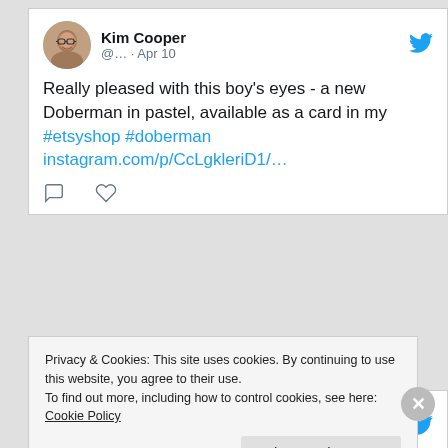[Figure (screenshot): Tweet from Kim Cooper, @..., Apr 10: 'Really pleased with this boy's eyes - a new Doberman in pastel, available as a card in my #etsyshop #doberman instagram.com/p/CcLgkleriD1/...' with comment and like icons]
[Figure (screenshot): Tweet from Kim Cooper, Nov 7, 2021 (partially visible, cut off by cookie banner)]
Privacy & Cookies: This site uses cookies. By continuing to use this website, you agree to their use.
To find out more, including how to control cookies, see here: Cookie Policy
Close and accept